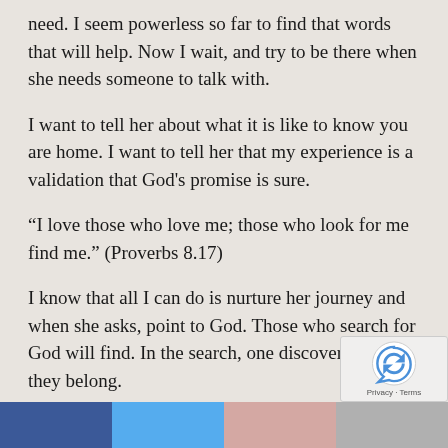need. I seem powerless so far to find that words that will help. Now I wait, and try to be there when she needs someone to talk with.
I want to tell her about what it is like to know you are home. I want to tell her that my experience is a validation that God's promise is sure.
“I love those who love me; those who look for me find me.” (Proverbs 8.17)
I know that all I can do is nurture her journey and when she asks, point to God. Those who search for God will find. In the search, one discovers where they belong.
Post Views: 669
[Figure (other): reCAPTCHA logo with Privacy and Terms links]
Social share buttons: Facebook, Twitter, Pinterest, More